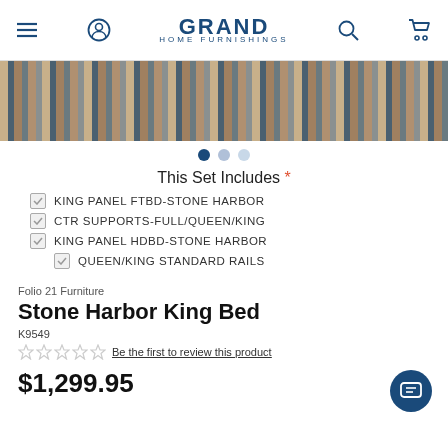GRAND HOME FURNISHINGS
[Figure (photo): Closeup of striped wood/woven furniture texture in browns, blues and grays]
This Set Includes *
KING PANEL FTBD-STONE HARBOR
CTR SUPPORTS-FULL/QUEEN/KING
KING PANEL HDBD-STONE HARBOR
QUEEN/KING STANDARD RAILS
Folio 21 Furniture
Stone Harbor King Bed
K9549
Be the first to review this product
$1,299.95